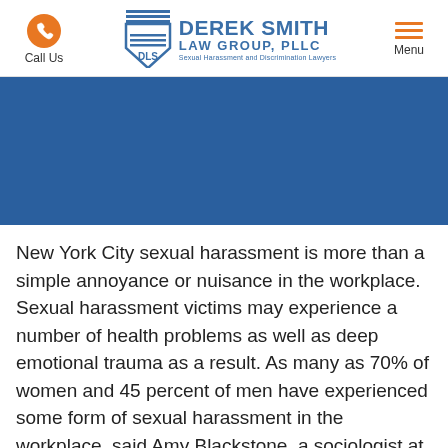Call Us | Derek Smith Law Group, PLLC | Sexual Harassment and Discrimination Lawyers | Menu
[Figure (other): Blue hero banner background image]
New York City sexual harassment is more than a simple annoyance or nuisance in the workplace. Sexual harassment victims may experience a number of health problems as well as deep emotional trauma as a result. As many as 70% of women and 45 percent of men have experienced some form of sexual harassment in the workplace, said Amy Blackstone, a sociologist at the University of Maine. You are made to feel uncomfortable and intimidated at your job, which affects every area of